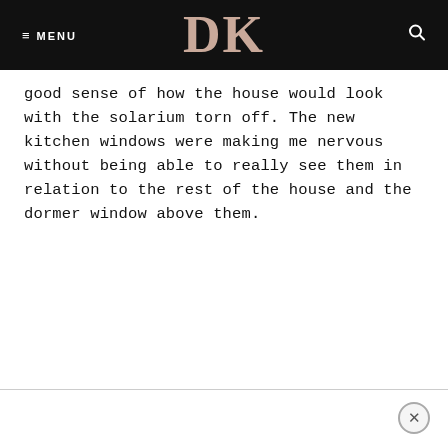≡ MENU  DK  🔍
good sense of how the house would look with the solarium torn off. The new kitchen windows were making me nervous without being able to really see them in relation to the rest of the house and the dormer window above them.